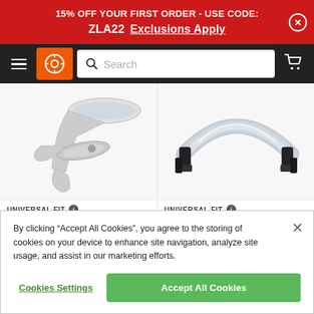15% OFF YOUR FIRST ORDER - USE CODE: ZLA22  Exclusions Apply
[Figure (screenshot): Navigation bar with hamburger menu, orange logo icon, search bar, and cart icon on dark background]
[Figure (photo): Motorcycle chrome side mirrors product photo on white/light background]
UNIVERSAL FIT
[Figure (photo): Motorcycle windscreen/deflector product photo on white/light background]
UNIVERSAL FIT
By clicking “Accept All Cookies”, you agree to the storing of cookies on your device to enhance site navigation, analyze site usage, and assist in our marketing efforts.
Cookies Settings
Accept All Cookies